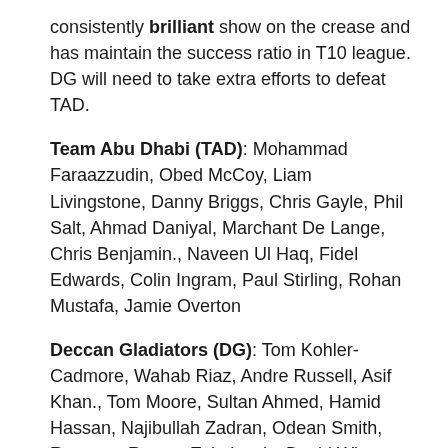consistently brilliant show on the crease and has maintain the success ratio in T10 league. DG will need to take extra efforts to defeat TAD.
Team Abu Dhabi (TAD): Mohammad Faraazzudin, Obed McCoy, Liam Livingstone, Danny Briggs, Chris Gayle, Phil Salt, Ahmad Daniyal, Marchant De Lange, Chris Benjamin., Naveen Ul Haq, Fidel Edwards, Colin Ingram, Paul Stirling, Rohan Mustafa, Jamie Overton
Deccan Gladiators (DG): Tom Kohler-Cadmore, Wahab Riaz, Andre Russell, Asif Khan., Tom Moore, Sultan Ahmed, Hamid Hassan, Najibullah Zadran, Odean Smith, Rumman Raees, Evin Lewis, David Wiese, Tom Banton, Zahoor Khan, Tymal Mills, Wanindu Hasaranga